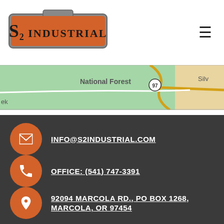[Figure (logo): S2 Industrial logo — orange badge shape with metal border, bold text 'S2 INDUSTRIAL']
[Figure (map): Partial Google Maps view showing National Forest area with route 97 and text 'Silv' at right edge and 'ek' at left edge]
INFO@S2INDUSTRIAL.COM
OFFICE: (541) 747-3391
92094 MARCOLA RD., PO BOX 1268, MARCOLA, OR 97454